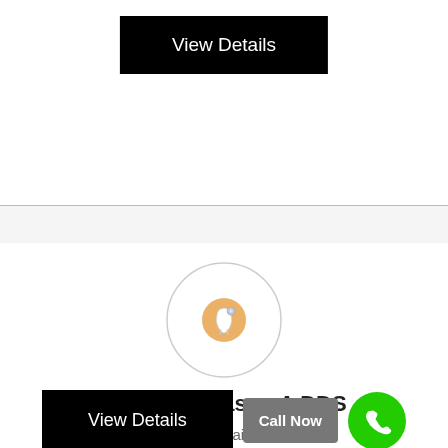View Details
[Figure (illustration): Circular dental icon with tooth and gem/sparkle, inside a light gray circle border]
Anderson Jason A DDS
202 Walnut St, Saint Peter, MN
Health Care and Social Assistance
View Details
Call Now